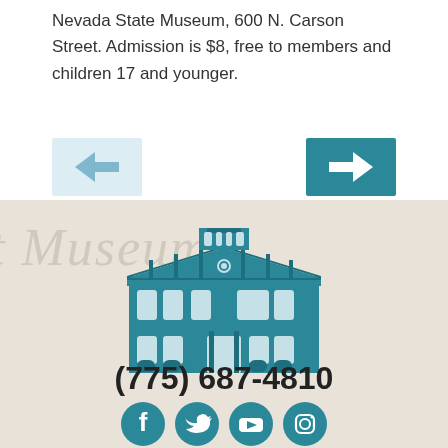Nevada State Museum, 600 N. Carson Street. Admission is $8, free to members and children 17 and younger.
[Figure (illustration): Navigation buttons: a light blue left-arrow button and a teal right-arrow button]
[Figure (logo): Nevada State Museum building logo in teal color with a classical multi-story building illustration and watermark text in background]
(775) 687-4810
[Figure (illustration): Four social media icons in teal circles: Facebook, Twitter, YouTube, Instagram]